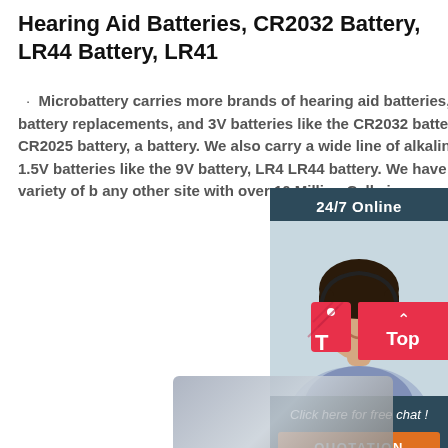Hearing Aid Batteries, CR2032 Battery, LR44 Battery, LR41
Microbattery carries more brands of hearing aid batteries, watch battery replacements, and 3V batteries like the CR2032 battery, CR2025 battery, a battery. We also carry a wide line of alkalin and 1.5V batteries like the 9V battery, LR4 LR44 battery. We have a wider variety of b any other site with over 10 Million Cells in
[Figure (infographic): 24/7 Online chat widget with woman wearing headset, dark blue background, 'Click here for free chat!' text, and orange QUOTATION button]
[Figure (infographic): Red 'Top' button with upward arrow, and a partial product image at the bottom of the page]